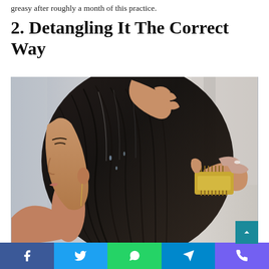greasy after roughly a month of this practice.
2. Detangling It The Correct Way
[Figure (photo): Woman with dark wet hair applying treatment and combing through it with a wooden brush, profile view]
Social share buttons: Facebook, Twitter, WhatsApp, Telegram, Viber